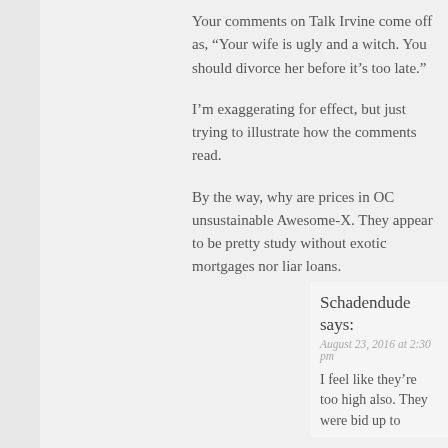Your comments on Talk Irvine come off as, “Your wife is ugly and a witch. You should divorce her before it’s too late.”
I’m exaggerating for effect, but just trying to illustrate how the comments read.
By the way, why are prices in OC unsustainable Awesome-X. They appear to be pretty study without exotic mortgages nor liar loans.
Schadendude says:
August 23, 2016 at 2:30 pm
I feel like they’re too high also. They were bid up to